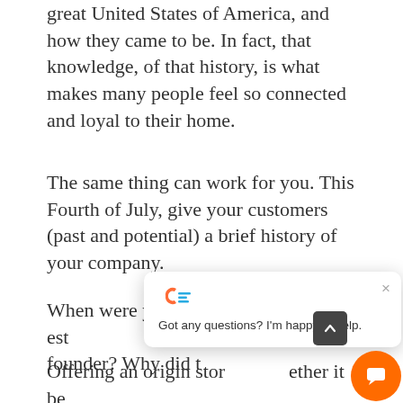great United States of America, and how they came to be. In fact, that knowledge, of that history, is what makes many people feel so connected and loyal to their home.
The same thing can work for you. This Fourth of July, give your customers (past and potential) a brief history of your company.
When were you est[ablished? Who was the] founder? Why did t[hey start the business?]
Offering an origin story — whether it be about a relatively new nation, or a relativ[ely] old family-owned corner store—foster[s a] sense of familiarity and history with your
[Figure (screenshot): Chat widget overlay showing a logo with orange and blue 'CF' symbol, a close button (×), and text 'Got any questions? I'm happy to help.' An orange circular chat button and a dark scroll-to-top button are also visible.]